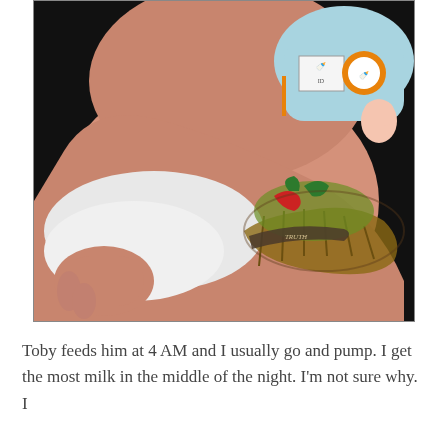[Figure (photo): Close-up photo of a person's arm holding a newborn baby. The arm has a large tattoo of a cupcake with decorative elements. The baby is wearing a light blue outfit with hospital ID tags. The background is black.]
Toby feeds him at 4 AM and I usually go and pump. I get the most milk in the middle of the night. I'm not sure why. I